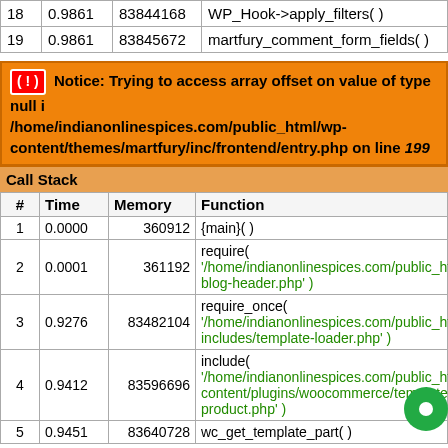| # | Time | Memory | Function |
| --- | --- | --- | --- |
| 18 | 0.9861 | 83844168 | WP_Hook->apply_filters( ) |
| 19 | 0.9861 | 83845672 | martfury_comment_form_fields( ) |
Notice: Trying to access array offset on value of type null in /home/indianonlinespices.com/public_html/wp-content/themes/martfury/inc/frontend/entry.php on line 199
| # | Time | Memory | Function |
| --- | --- | --- | --- |
| 1 | 0.0000 | 360912 | {main}( ) |
| 2 | 0.0001 | 361192 | require( '/home/indianonlinespices.com/public_html/wp... blog-header.php' ) |
| 3 | 0.9276 | 83482104 | require_once( '/home/indianonlinespices.com/public_html/wp... includes/template-loader.php' ) |
| 4 | 0.9412 | 83596696 | include( '/home/indianonlinespices.com/public_html/wp... content/plugins/woocommerce/templates/single-product.php' ) |
| 5 | 0.9451 | 83640728 | wc_get_template_part( ) |